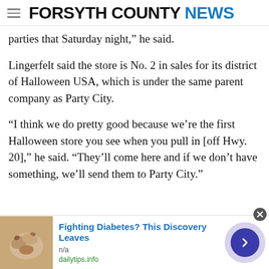FORSYTH COUNTY NEWS
parties that Saturday night,” he said.
Lingerfelt said the store is No. 2 in sales for its district of Halloween USA, which is under the same parent company as Party City.
“I think we do pretty good because we’re the first Halloween store you see when you pull in [off Hwy. 20],” he said. “They’ll come here and if we don’t have something, we’ll send them to Party City.”
[Figure (screenshot): Advertisement banner: cashews image, text ‘Fighting Diabetes? This Discovery Leaves’, source n/a, url dailytips.info, arrow button, close button]